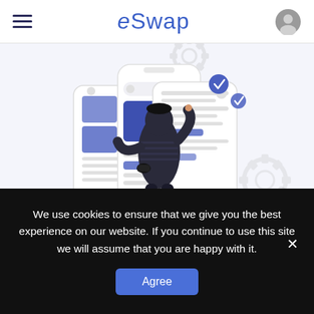eSwap
[Figure (illustration): A person standing with their back to the viewer, interacting with multiple mobile app interface screens floating in front of them. The screens show UI elements including search bars, images, and content cards in purple and white. Background has decorative gear and leaf icons in light gray. The overall color scheme is purple, dark navy, and white on a light blue-gray background.]
We use cookies to ensure that we give you the best experience on our website. If you continue to use this site we will assume that you are happy with it.